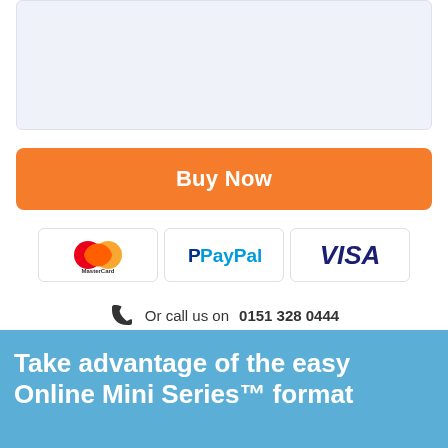[Figure (other): Light blue/grey empty box area at the top of the page]
Buy Now
[Figure (other): Payment method logos: MasterCard, PayPal, VISA]
Or call us on 0151 328 0444
Take advantage of the easy Online Mini Series™ format